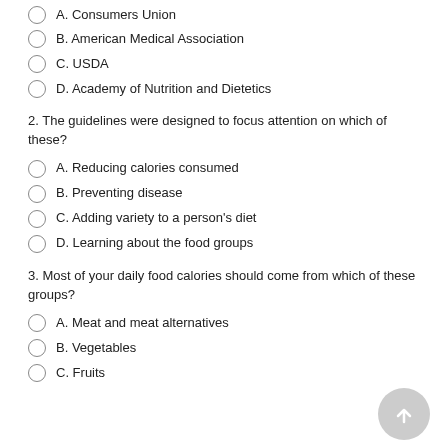A. Consumers Union
B. American Medical Association
C. USDA
D. Academy of Nutrition and Dietetics
2. The guidelines were designed to focus attention on which of these?
A. Reducing calories consumed
B. Preventing disease
C. Adding variety to a person's diet
D. Learning about the food groups
3. Most of your daily food calories should come from which of these groups?
A. Meat and meat alternatives
B. Vegetables
C. Fruits